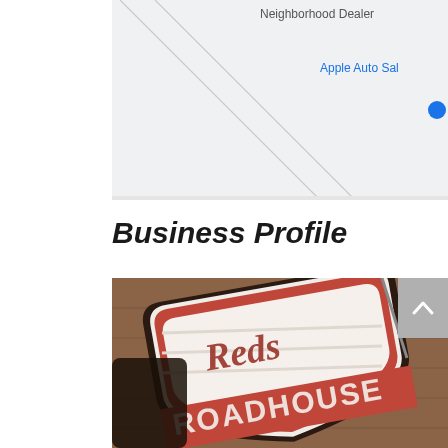[Figure (map): Partial map screenshot showing 'Neighborhood Dealer' label and 'Apple Auto Sal' label with a blue location dot, with road lines on a light gray background]
Business Profile
[Figure (photo): Close-up photo of a rustic wooden sign reading 'Reds Roadhouse' with red and white distressed lettering on a shield-shaped board, placed on a wooden surface]